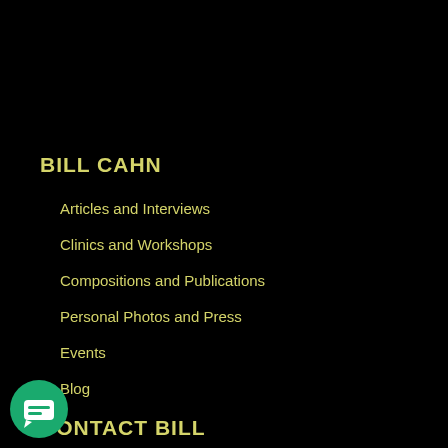BILL CAHN
Articles and Interviews
Clinics and Workshops
Compositions and Publications
Personal Photos and Press
Events
Blog
CONTACT BILL
Your Name (required)
[Figure (illustration): Green circular chat/message icon button in the bottom left corner]